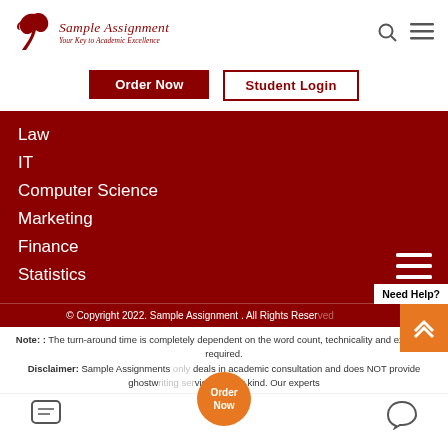[Figure (logo): Sample Assignment logo with bird icon and tagline 'Your Key to Academic Excellence']
Order Now
Student Login
Law
IT
Computer Science
Marketing
Finance
Statistics
© Copyright 2022. Sample Assignment . All Rights Reserved
Note: : The turn-around time is completely dependent on the word count, technicality and expertise required. Disclaimer: Sample Assignments only deals in academic consultation and does NOT provide ghostwriting services of any kind. Our experts